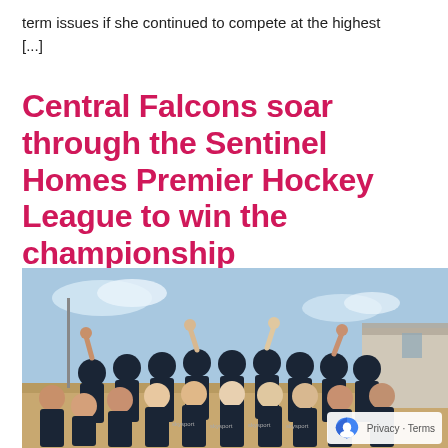term issues if she continued to compete at the highest
[...]
Central Falcons soar through the Sentinel Homes Premier Hockey League to win the championship
[Figure (photo): Group photo of the Central Falcons women's hockey team celebrating their championship win, wearing dark jerseys with Skysport sponsor logos, raising fists and pointing fingers in celebration on an outdoor hockey pitch with buildings and blue sky in the background.]